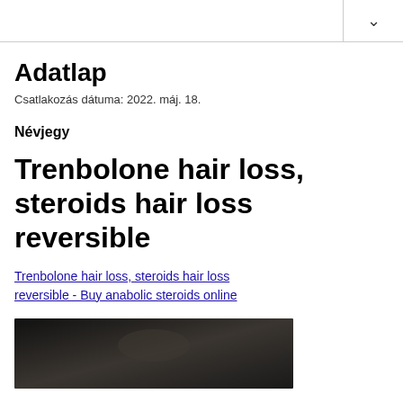Adatlap
Csatlakozás dátuma: 2022. máj. 18.
Névjegy
Trenbolone hair loss, steroids hair loss reversible
Trenbolone hair loss, steroids hair loss reversible - Buy anabolic steroids online
[Figure (photo): Dark blurred photo at bottom of page]